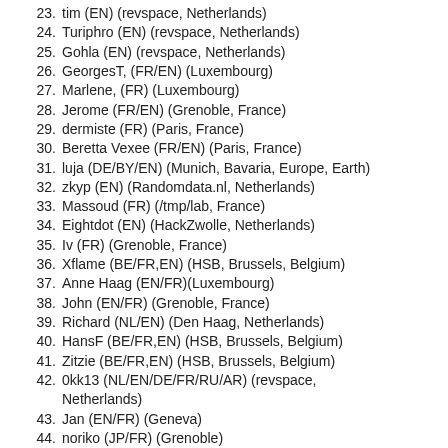23. tim (EN) (revspace, Netherlands)
24. Turiphro (EN) (revspace, Netherlands)
25. Gohla (EN) (revspace, Netherlands)
26. GeorgesT, (FR/EN) (Luxembourg)
27. Marlene, (FR) (Luxembourg)
28. Jerome (FR/EN) (Grenoble, France)
29. dermiste (FR) (Paris, France)
30. Beretta Vexee (FR/EN) (Paris, France)
31. luja (DE/BY/EN) (Munich, Bavaria, Europe, Earth)
32. zkyp (EN) (Randomdata.nl, Netherlands)
33. Massoud (FR) (/tmp/lab, France)
34. Eightdot (EN) (HackZwolle, Netherlands)
35. Iv (FR) (Grenoble, France)
36. Xflame (BE/FR,EN) (HSB, Brussels, Belgium)
37. Anne Haag (EN/FR)(Luxembourg)
38. John (EN/FR) (Grenoble, France)
39. Richard (NL/EN) (Den Haag, Netherlands)
40. HansF (BE/FR,EN) (HSB, Brussels, Belgium)
41. Zitzie (BE/FR,EN) (HSB, Brussels, Belgium)
42. 0kk13 (NL/EN/DE/FR/RU/AR) (revspace, Netherlands)
43. Jan (EN/FR) (Geneva)
44. noriko (JP/FR) (Grenoble)